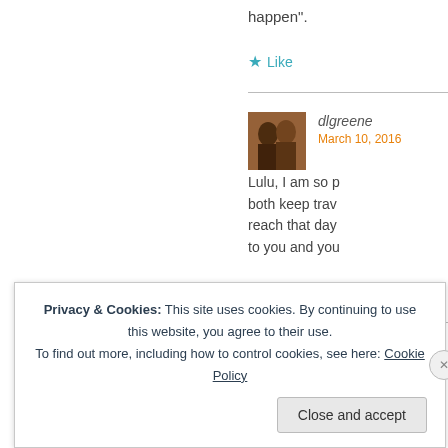happen".
★ Like
dlgreene
March 10, 2016
[Figure (photo): Profile photo of a couple, man and woman embracing]
Lulu, I am so p... both keep trav... reach that day... to you and you...
★ Like
lola
Privacy & Cookies: This site uses cookies. By continuing to use this website, you agree to their use.
To find out more, including how to control cookies, see here: Cookie Policy
Close and accept